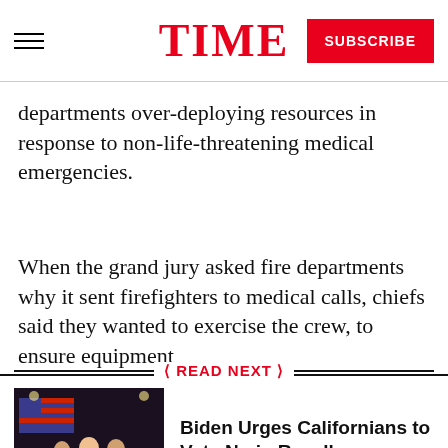TIME | SUBSCRIBE
departments over-deploying resources in response to non-life-threatening medical emergencies.
When the grand jury asked fire departments why it sent firefighters to medical calls, chiefs said they wanted to exercise the crew, to ensure equipment
READ NEXT
[Figure (photo): Photo of people at a campaign event with an American flag backdrop]
Biden Urges Californians to Vote No in Recall